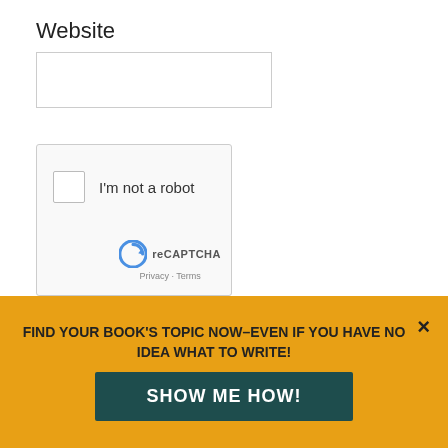Website
[Figure (screenshot): Empty text input field for Website URL]
[Figure (screenshot): reCAPTCHA widget with checkbox labeled 'I'm not a robot', reCAPTCHA logo, Privacy and Terms links]
Notify me of followup comments via e-mail. You can also subscribe without
FIND YOUR BOOK'S TOPIC NOW–even if you have no idea what to write!
SHOW ME HOW!